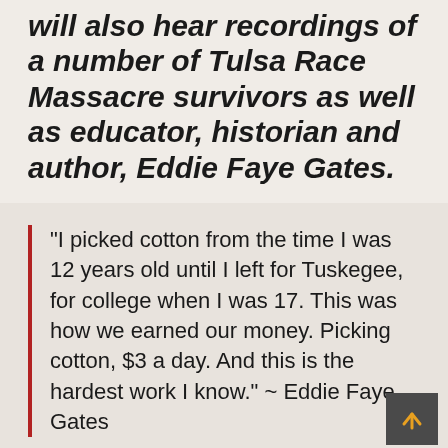will also hear recordings of a number of Tulsa Race Massacre survivors as well as educator, historian and author, Eddie Faye Gates.
"I picked cotton from the time I was 12 years old until I left for Tuskegee, for college when I was 17. This was how we earned our money. Picking cotton, $3 a day. And this is the hardest work I know." ~ Eddie Faye Gates